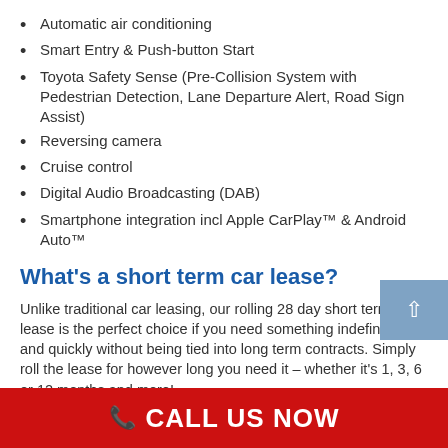Automatic air conditioning
Smart Entry & Push-button Start
Toyota Safety Sense (Pre-Collision System with Pedestrian Detection, Lane Departure Alert, Road Sign Assist)
Reversing camera
Cruise control
Digital Audio Broadcasting (DAB)
Smartphone integration incl Apple CarPlay™ & Android Auto™
What's a short term car lease?
Unlike traditional car leasing, our rolling 28 day short term lease is the perfect choice if you need something indefinitely and quickly without being tied into long term contracts. Simply roll the lease for however long you need it – whether it's 1, 3, 6 or 12 months and more!
After the initial 28 day period is up, you're fine to
CALL US NOW